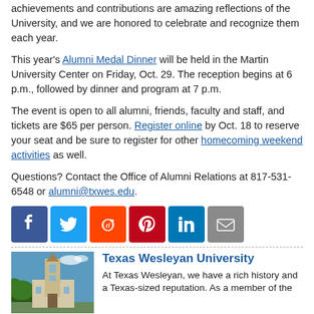achievements and contributions are amazing reflections of the University, and we are honored to celebrate and recognize them each year.
This year's Alumni Medal Dinner will be held in the Martin University Center on Friday, Oct. 29. The reception begins at 6 p.m., followed by dinner and program at 7 p.m.
The event is open to all alumni, friends, faculty and staff, and tickets are $65 per person. Register online by Oct. 18 to reserve your seat and be sure to register for other homecoming weekend activities as well.
Questions? Contact the Office of Alumni Relations at 817-531-6548 or alumni@txwes.edu.
[Figure (infographic): Social media sharing icons: Facebook (blue), Twitter (light blue), Reddit (orange), Pinterest (red), LinkedIn (blue), Email (gray)]
[Figure (photo): Photo of Texas Wesleyan University building/tower with trees and blue sky]
Texas Wesleyan University
At Texas Wesleyan, we have a rich history and a Texas-sized reputation. As a member of the